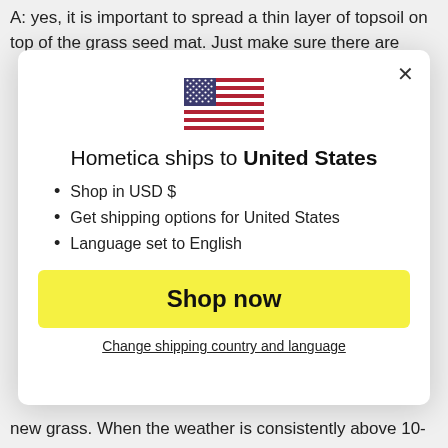A: yes, it is important to spread a thin layer of topsoil on top of the grass seed mat. Just make sure there are
[Figure (illustration): US flag emoji/icon displayed in the center of a modal dialog]
Hometica ships to United States
Shop in USD $
Get shipping options for United States
Language set to English
Shop now
Change shipping country and language
new grass. When the weather is consistently above 10-